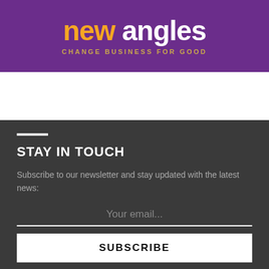[Figure (logo): New Angles logo with tagline 'CHANGE BUSINESS FOR GOOD' on purple background]
STAY IN TOUCH
Subscribe to our newsletter and stay updated with the latest news:
Your email...
SUBSCRIBE